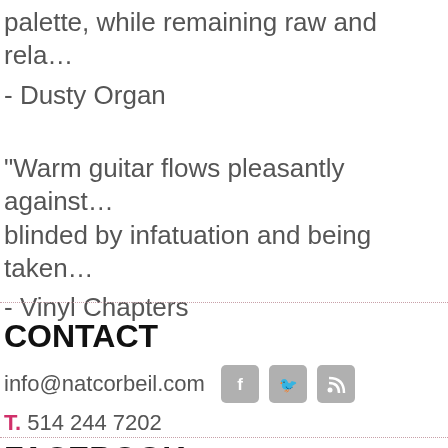palette, while remaining raw and rela...
- Dusty Organ
"Warm guitar flows pleasantly against... blinded by infatuation and being taken...
- Vinyl Chapters
CONTACT
info@natcorbeil.com
T. 514 244 7202
FACEBOOK